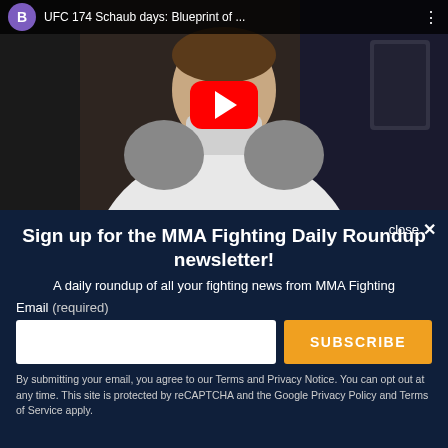[Figure (screenshot): YouTube video thumbnail showing a person with boxing gloves and a face mask, with YouTube play button overlay. Video title: 'UFC 174 Schaub days: Blueprint of ...']
Sign up for the MMA Fighting Daily Roundup newsletter!
A daily roundup of all your fighting news from MMA Fighting
Email (required)
SUBSCRIBE
By submitting your email, you agree to our Terms and Privacy Notice. You can opt out at any time. This site is protected by reCAPTCHA and the Google Privacy Policy and Terms of Service apply.